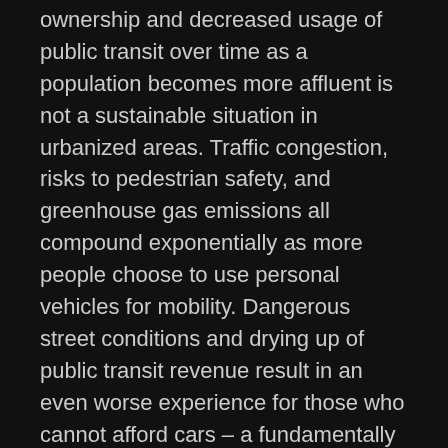ownership and decreased usage of public transit over time as a population becomes more affluent is not a sustainable situation in urbanized areas. Traffic congestion, risks to pedestrian safety, and greenhouse gas emissions all compound exponentially as more people choose to use personal vehicles for mobility. Dangerous street conditions and drying up of public transit revenue result in an even worse experience for those who cannot afford cars – a fundamentally inequitable outcome and one that further fuels the desire for more car ownership.
We need to find ways to change the incentives and desirability of car ownership. This can be done by improving the alternatives (making public transit cheaper, more convenient, and comfortable) as well as exposing car owners to more of the hidden costs